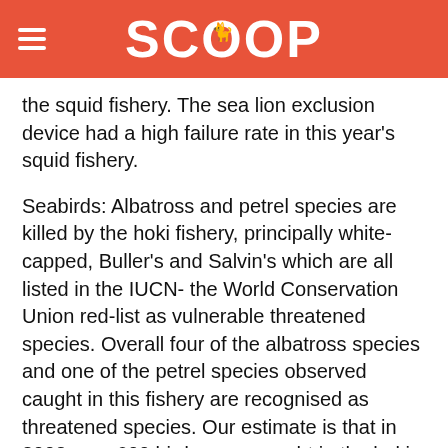SCOOP
the squid fishery. The sea lion exclusion device had a high failure rate in this year's squid fishery.
Seabirds: Albatross and petrel species are killed by the hoki fishery, principally white-capped, Buller's and Salvin's which are all listed in the IUCN- the World Conservation Union red-list as vulnerable threatened species. Overall four of the albatross species and one of the petrel species observed caught in this fishery are recognised as threatened species. Our estimate is that in 2003 over 600 birds were caught in the hoki fishery. The total number of birds killed in the fishery could be under-estimated by up to five times according to the Department of Conservation.
Measures to assess options for reducing seabird deaths are taking too long. The discharge of offal is clearly a factor that needs to be dealt with in the hoki